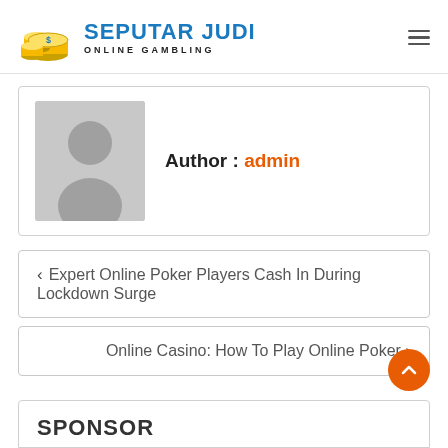[Figure (logo): Seputar Judi Online Gambling logo with coin stacks and blue/yellow text]
Author : admin
[Figure (photo): Default user avatar placeholder — grey silhouette on grey background]
< Expert Online Poker Players Cash In During Lockdown Surge
Online Casino: How To Play Online Poker >
SPONSOR